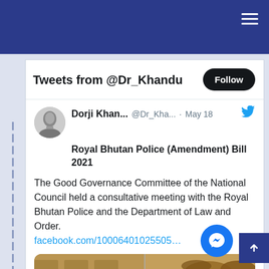Tweets from @Dr_Khandu
Dorji Khan... @Dr_Kha... · May 18
Royal Bhutan Police (Amendment) Bill 2021
The Good Governance Committee of the National Council held a consultative meeting with the Royal Bhutan Police and the Department of Law and Order. facebook.com/10006401025505…
[Figure (photo): Meeting photo showing officials seated at a conference table, split into two panels, in a formal meeting room setting.]